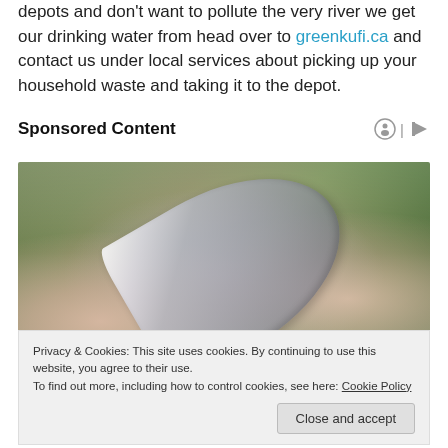depots and don't want to pollute the very river we get our drinking water from head over to greenkufi.ca and contact us under local services about picking up your household waste and taking it to the depot.
Sponsored Content
[Figure (photo): Close-up photo of a hand squeezing a silver/metallic tube, with a blurred green background]
Privacy & Cookies: This site uses cookies. By continuing to use this website, you agree to their use.
To find out more, including how to control cookies, see here: Cookie Policy